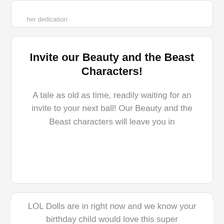her dedication
Invite our Beauty and the Beast Characters!
A tale as old as time, readily waiting for an invite to your next ball! Our Beauty and the Beast characters will leave you in
Invite Our LOL Dolls to Your Next Event!
LOL Dolls are in right now and we know your birthday child would love this super